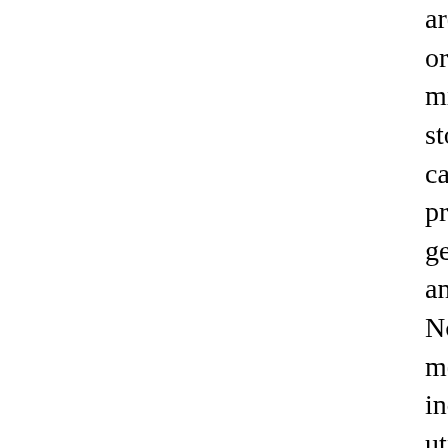area brick front shop and obtaining either or an exchanged item in hand in just minutes. Let's talk about stability. Within store, cash can be used, and if a debit card is used the shopper receives to processes his or her card. Also, a p generally not required to give own int and facts for instance a title and physica Not so with shopping online, beca merchandise must be dealt with and se individual at an deal with. Funds car utilized on the internet, Just what exac procedures the cardboard and captures public data about the web? And just ho the personal data protected? One tremendously lower possibility when sho the web is to utilize virtual bank card c These figures are supplied by charge ca including Citi and Discover, and can be once, so regardless of whether the cr details is captured by Another entity transaction, it can't be employed to fin purchase. I take advantage of virtual b figures when I store on the net, and I re